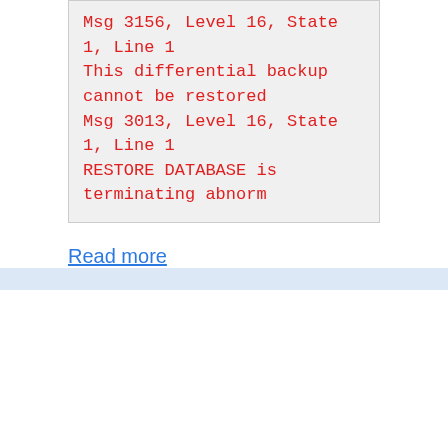Msg 3156, Level 16, State 1, Line 1
This differential backup cannot be restored
Msg 3013, Level 16, State 1, Line 1
RESTORE DATABASE is terminating abnorm
Read more
SQL Errors
2 Comments
Failed to update databa...